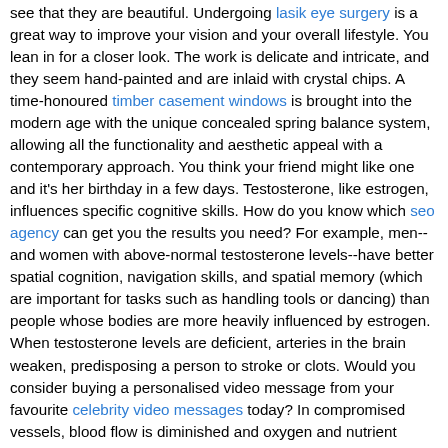see that they are beautiful. Undergoing lasik eye surgery is a great way to improve your vision and your overall lifestyle. You lean in for a closer look. The work is delicate and intricate, and they seem hand-painted and are inlaid with crystal chips. A time-honoured timber casement windows is brought into the modern age with the unique concealed spring balance system, allowing all the functionality and aesthetic appeal with a contemporary approach. You think your friend might like one and it's her birthday in a few days. Testosterone, like estrogen, influences specific cognitive skills. How do you know which seo agency can get you the results you need? For example, men--and women with above-normal testosterone levels--have better spatial cognition, navigation skills, and spatial memory (which are important for tasks such as handling tools or dancing) than people whose bodies are more heavily influenced by estrogen. When testosterone levels are deficient, arteries in the brain weaken, predisposing a person to stroke or clots. Would you consider buying a personalised video message from your favourite celebrity video messages today? In compromised vessels, blood flow is diminished and oxygen and nutrient delivery is insufficient, contributing to poor memory and cognition. Therapeutic Use for MS Most steel buildings uk suppliers have a wide range of door and additional options available. The relationship between testosterone levels and neurodegenerative diseases such as MS and AD is unclear and underexplored. Several studies support the theory that testosterone levels are lower than normal in men with MS, and one study showed that women with MS have significantly lower levels of testosterone than healthy women. Provided you own your own home then aerial repairs are a worthwhile investment. It is theorized that similar to estrogen, testosterone may play a role in preventing amyloid-beta from accumulating, and when hormone levels decline, that protection is lost. Research on testosterone treatment for neurological diseases such as MS